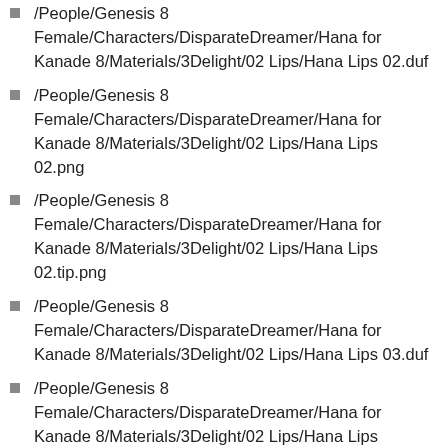/People/Genesis 8 Female/Characters/DisparateDreamer/Hana for Kanade 8/Materials/3Delight/02 Lips/Hana Lips 02.duf
/People/Genesis 8 Female/Characters/DisparateDreamer/Hana for Kanade 8/Materials/3Delight/02 Lips/Hana Lips 02.png
/People/Genesis 8 Female/Characters/DisparateDreamer/Hana for Kanade 8/Materials/3Delight/02 Lips/Hana Lips 02.tip.png
/People/Genesis 8 Female/Characters/DisparateDreamer/Hana for Kanade 8/Materials/3Delight/02 Lips/Hana Lips 03.duf
/People/Genesis 8 Female/Characters/DisparateDreamer/Hana for Kanade 8/Materials/3Delight/02 Lips/Hana Lips 03.png
/People/Genesis 8 Female/Characters/DisparateDreamer/Hana for Kanade 8/Materials/3Delight/02 Lips/Hana Lips ...